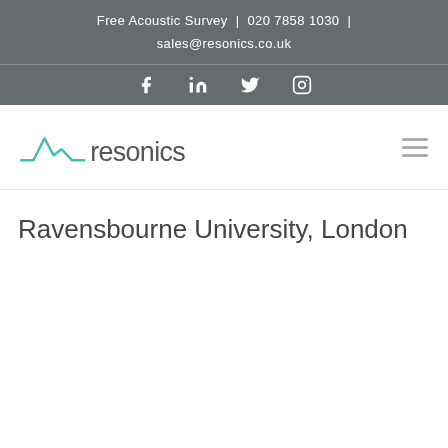Free Acoustic Survey | 020 7858 1030 | sales@resonics.co.uk
[Figure (logo): Social media icons row: Facebook, LinkedIn, Twitter, Instagram on grey background]
[Figure (logo): Resonics logo — teal waveform/mountain mark followed by 'resonics' in grey sans-serif text]
Ravensbourne University, London